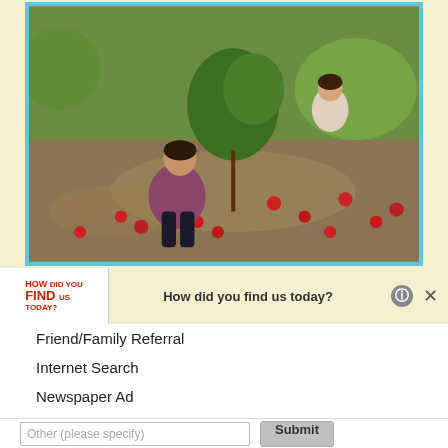[Figure (photo): Outdoor photo of a person crouching in an orchard picking apples off the ground, with another person visible in the background among apple trees. Red apples scattered on the dirt ground.]
[Figure (logo): How Did You Find Us Today? survey logo — red bold text reading HOW DID YOU FIND US TODAY?]
How did you find us today?
Friend/Family Referral
Internet Search
Newspaper Ad
Yellow Pages
Walk-by/Drive-by
Other (please specify)
Submit